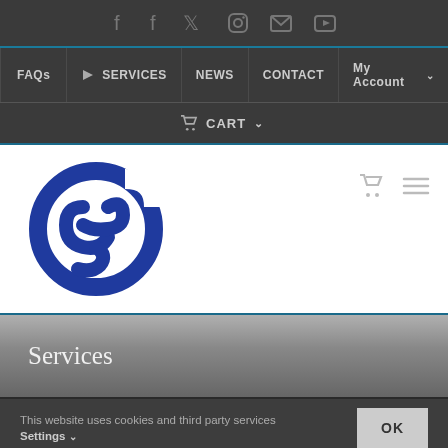Social media icons bar: f f Twitter Instagram Email YouTube
FAQs | SERVICES | NEWS | CONTACT | My Account
CART
[Figure (logo): Blue circular logo with stylized letter e and curved elements, resembling a recycling/refresh symbol in dark blue]
Services
This website uses cookies and third party services
Settings